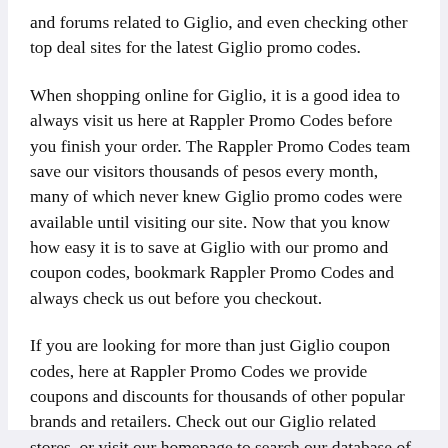and forums related to Giglio, and even checking other top deal sites for the latest Giglio promo codes.
When shopping online for Giglio, it is a good idea to always visit us here at Rappler Promo Codes before you finish your order. The Rappler Promo Codes team save our visitors thousands of pesos every month, many of which never knew Giglio promo codes were available until visiting our site. Now that you know how easy it is to save at Giglio with our promo and coupon codes, bookmark Rappler Promo Codes and always check us out before you checkout.
If you are looking for more than just Giglio coupon codes, here at Rappler Promo Codes we provide coupons and discounts for thousands of other popular brands and retailers. Check out our Giglio related stores, or visit our homepage to search our database of thousands of promo codes.